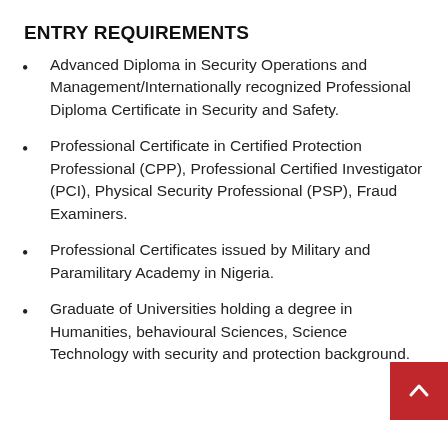ENTRY REQUIREMENTS
Advanced Diploma in Security Operations and Management/Internationally recognized Professional Diploma Certificate in Security and Safety.
Professional Certificate in Certified Protection Professional (CPP), Professional Certified Investigator (PCI), Physical Security Professional (PSP), Fraud Examiners.
Professional Certificates issued by Military and Paramilitary Academy in Nigeria.
Graduate of Universities holding a degree in Humanities, behavioural Sciences, Sciences, Technology with security and protection background.